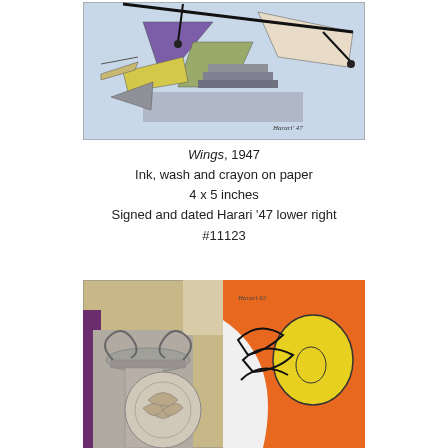[Figure (illustration): Abstract artwork titled 'Wings' 1947 showing geometric shapes including triangles and angular forms resembling aircraft wings in a cubist style, done in ink wash and crayon on paper. Signed 'Harari 47' lower right.]
Wings, 1947
Ink, wash and crayon on paper
4 x 5 inches
Signed and dated Harari '47 lower right
#11123
[Figure (illustration): Abstract artwork showing a composition with an Ionic column capital, a circular medallion with floral decoration, and bold orange and yellow abstract forms with black line work. Signed 'Harari 62' upper right.]